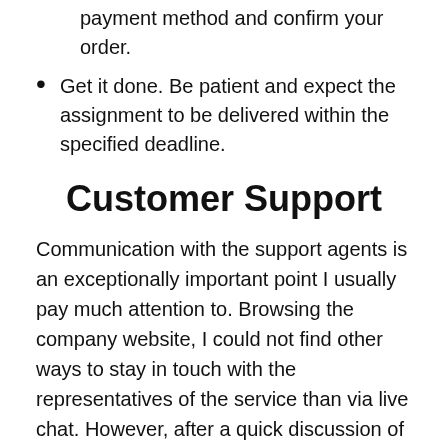payment method and confirm your order.
Get it done. Be patient and expect the assignment to be delivered within the specified deadline.
Customer Support
Communication with the support agents is an exceptionally important point I usually pay much attention to. Browsing the company website, I could not find other ways to stay in touch with the representatives of the service than via live chat. However, after a quick discussion of numerous questions, I was 100% sure it was a reliable and beneficial way to deal with all the issues. Additionally, the company is active on social media so that customers can discover